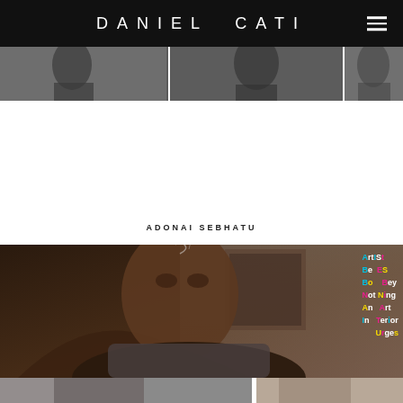DANIEL CATI
[Figure (photo): Top strip of black and white portrait photographs]
ADONAI SEBHATU
[Figure (photo): Main photo of a young Black man looking upward with smoke, overlaid with colorful mixed-case text reading: ArtISt / Be ES / B o Bey / Not Hing / An Art / In Terior / Urges]
[Figure (photo): Bottom strip showing two partial photographs side by side]